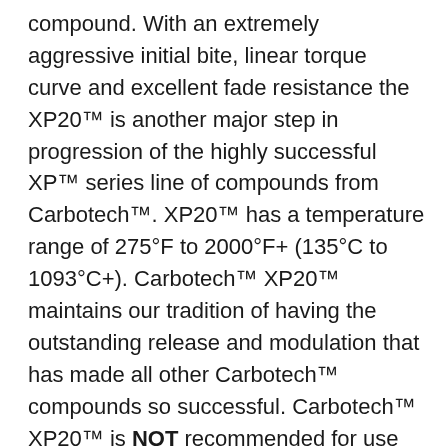compound. With an extremely aggressive initial bite, linear torque curve and excellent fade resistance the XP20™ is another major step in progression of the highly successful XP™ series line of compounds from Carbotech™. XP20™ has a temperature range of 275°F to 2000°F+ (135°C to 1093°C+). Carbotech™ XP20™ maintains our tradition of having the outstanding release and modulation that has made all other Carbotech™ compounds so successful. Carbotech™ XP20™ is NOT recommended for use as a daily driven street pad due to possible elevated levels of dust and noise.